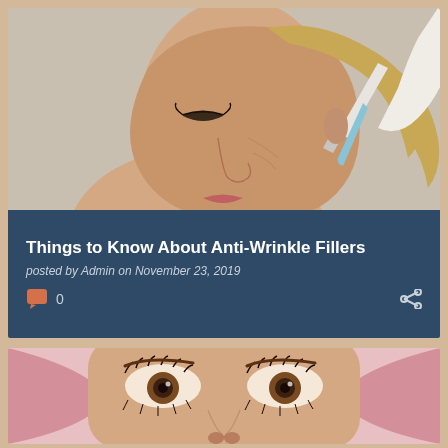[Figure (photo): Close-up of a middle-aged woman receiving a facial injection from a gloved hand holding a syringe, beige/neutral background]
Things to Know About Anti-Wrinkle Fillers
posted by Admin on November 23, 2019
[Figure (photo): Close-up of a young woman's eyes and nose with a pink background/headwrap, looking up]